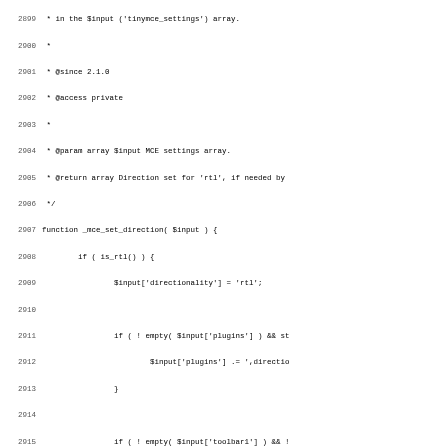Source code listing, lines 2899-2931, PHP function _mce_set_direction and start of smiley conversion docblock